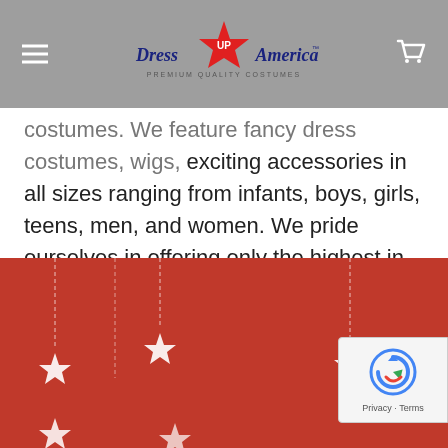[Figure (logo): Dress Up America logo — red star with 'UP' text, blue bold text 'Dress Up America', tagline 'PREMIUM QUALITY COSTUMES']
costumes. We feature fancy dress costumes, wigs, exciting accessories in all sizes ranging from infants, boys, girls, teens, men, and women. We pride ourselves in offering only the highest in quality so please order with confidence: Being an authorized seller with thousands of satisfied customers, we are here to serve you. Please contact us with any questions. We appreciate your business.
[Figure (illustration): Red footer banner with hanging white stars on strings decoration, reCAPTCHA badge in bottom right corner with arrow icon and 'Privacy - Terms' text]